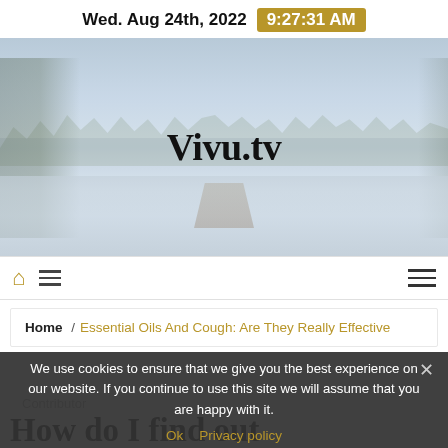Wed. Aug 24th, 2022  9:27:31 AM
[Figure (photo): Hero banner with winter lake scene, trees, dock, and overlaid Vivu.tv logo text]
Vivu.tv
[Figure (infographic): Navigation bar with home icon, hamburger menu icons]
Home / Essential Oils And Cough: Are They Really Effective
We use cookies to ensure that we give you the best experience on our website. If you continue to use this site we will assume that you are happy with it.
Ok  Privacy policy
How do I find out